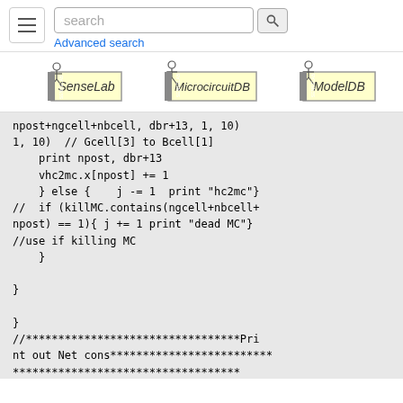search | Advanced search
[Figure (logo): SenseLab logo]
[Figure (logo): MicrocircuitDB logo]
[Figure (logo): ModelDB logo]
npost+ngcell+nbcell, dbr+13, 1, 10)
1, 10)  // Gcell[3] to Bcell[1]
    print npost, dbr+13
    vhc2mc.x[npost] += 1
    } else {    j -= 1  print "hc2mc"}
//  if (killMC.contains(ngcell+nbcell+
npost) == 1){ j += 1 print "dead MC"}
//use if killing MC
    }

}

}
//*********************************Pri
nt out Net cons*************************
***********************************
strdef strvar
objref dfile
dfile = new File()